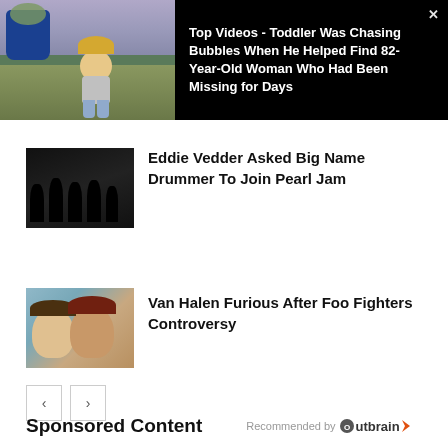[Figure (photo): Top banner with black background showing toddler child outdoors near blue pot with flowers, and headline text to the right]
Top Videos - Toddler Was Chasing Bubbles When He Helped Find 82-Year-Old Woman Who Had Been Missing for Days
[Figure (photo): Thumbnail of band members (Pearl Jam) in dark clothing]
Eddie Vedder Asked Big Name Drummer To Join Pearl Jam
[Figure (photo): Thumbnail of two men taking a selfie (Van Halen related)]
Van Halen Furious After Foo Fighters Controversy
Sponsored Content   Recommended by Outbrain